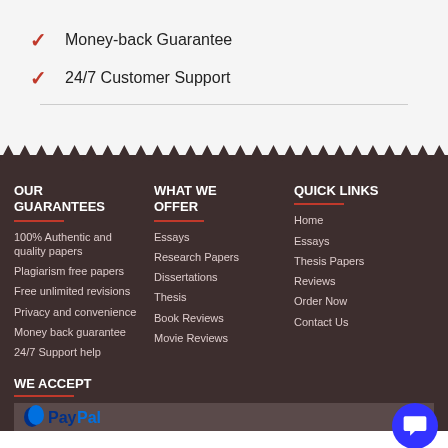Money-back Guarantee
24/7 Customer Support
OUR GUARANTEES
100% Authentic and quality papers
Plagiarism free papers
Free unlimited revisions
Privacy and convenience
Money back guarantee
24/7 Support help
WHAT WE OFFER
Essays
Research Papers
Dissertations
Thesis
Book Reviews
Movie Reviews
QUICK LINKS
Home
Essays
Thesis Papers
Reviews
Order Now
Contact Us
WE ACCEPT
[Figure (logo): PayPal logo]